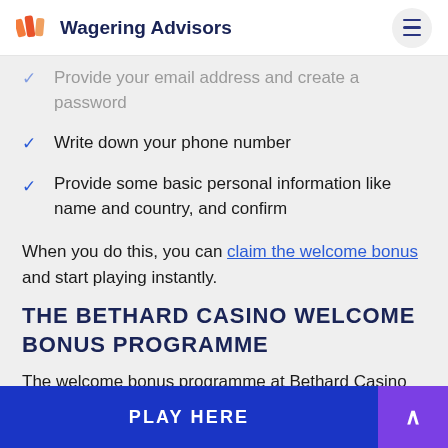Wagering Advisors
Provide your email address and create a password
Write down your phone number
Provide some basic personal information like name and country, and confirm
When you do this, you can claim the welcome bonus and start playing instantly.
THE BETHARD CASINO WELCOME BONUS PROGRAMME
The welcome bonus programme at Bethard Casino online matches your first deposit by 100%. You're required to make a minimum deposit of €10. Although you can deposit more,
PLAY HERE